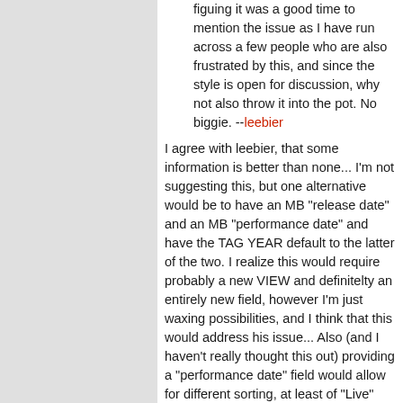figuing it was a good time to mention the issue as I have run across a few people who are also frustrated by this, and since the style is open for discussion, why not also throw it into the pot. No biggie. --leebier
I agree with leebier, that some information is better than none... I'm not suggesting this, but one alternative would be to have an MB "release date" and an MB "performance date" and have the TAG YEAR default to the latter of the two. I realize this would require probably a new VIEW and definitelty an entirely new field, however I'm just waxing possibilities, and I think that this would address his issue... Also (and I haven't really thought this out) providing a "performance date" field would allow for different sorting, at least of "Live" and could possibly be even sorted into the method of naming and entering Live Bootlegs, such that MB requests the date, the "title" and the venue